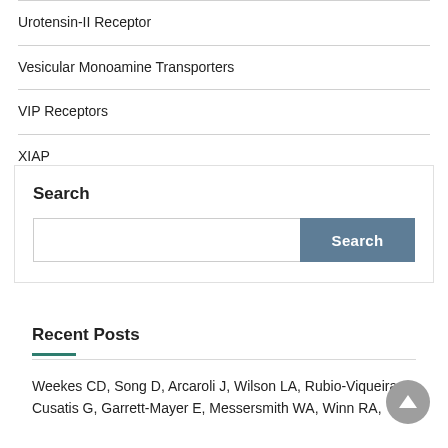Urotensin-II Receptor
Vesicular Monoamine Transporters
VIP Receptors
XIAP
Search
Recent Posts
Weekes CD, Song D, Arcaroli J, Wilson LA, Rubio-Viqueira B, Cusatis G, Garrett-Mayer E, Messersmith WA, Winn RA,